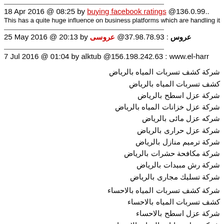18 Apr 2016 @ 08:25 by buying facebook ratings @136.0.99…
This has a quite huge influence on business platforms which are handling its
25 May 2016 @ 20:13 by عروس : 37.98.78.93@ عروسى
7 Jul 2016 @ 01:04 by alktub @156.198.242.63 : www.el-harr
شركة كشف تسربات المياه بالرياض
كشف تسربات المياه بالرياض
شركة عزل اسطح بالرياض
شركة عزل خزانات المياه بالرياض
شركه عزل مائى بالرياض
شركة عزل حرارى بالرياض
شركة ترميم منازل بالرياض
شركة مكافحة حشرات بالرياض
شركة رش مبيدات بالرياض
شركة تسليك مجارى بالرياض
شركة كشف تسربات المياه بالاحساء
كشف تسربات المياه بالاحساء
شركة عزل اسطح بالاحساء
شركة عزل خزانات المياه بالاحساء
شركه عزل مائى بالاحساء
شركة عزل حرارى بالاحساء